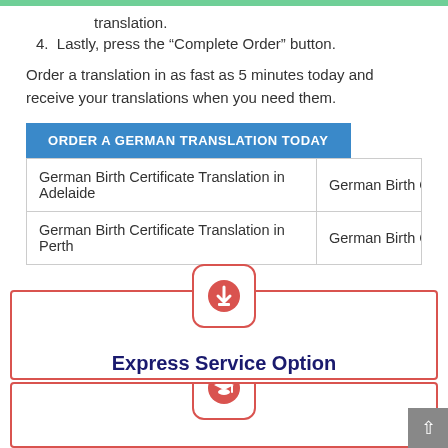translation.
4. Lastly, press the “Complete Order” button.
Order a translation in as fast as 5 minutes today and receive your translations when you need them.
ORDER A GERMAN TRANSLATION TODAY
| German Birth Certificate Translation in Adelaide | German Birth Ce… |
| German Birth Certificate Translation in Perth | German Birth Ce… |
[Figure (infographic): Express Service Option card with red download icon in a rounded square border, red border around card, dark blue bold title text]
[Figure (infographic): NAATI Recognised card with red graduation cap icon in a rounded square border, red border around card, dark blue bold title text (partially visible)]